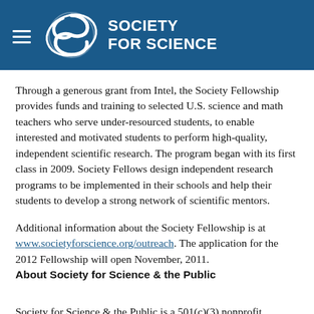Society for Science
Through a generous grant from Intel, the Society Fellowship provides funds and training to selected U.S. science and math teachers who serve under-resourced students, to enable interested and motivated students to perform high-quality, independent scientific research. The program began with its first class in 2009. Society Fellows design independent research programs to be implemented in their schools and help their students to develop a strong network of scientific mentors.
Additional information about the Society Fellowship is at www.societyforscience.org/outreach. The application for the 2012 Fellowship will open November, 2011.
About Society for Science & the Public
Society for Science & the Public is a 501(c)(3) nonprofit membership organization dedicated to the achievement of young researchers in independent research and to the public communication of science.